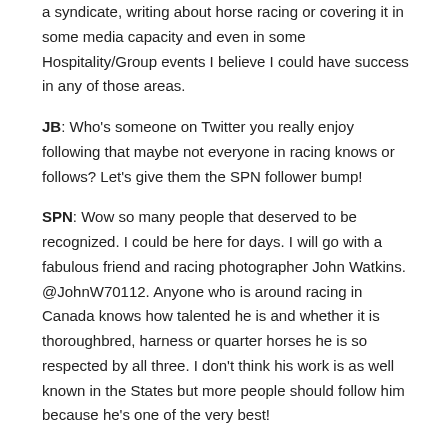a syndicate, writing about horse racing or covering it in some media capacity and even in some Hospitality/Group events I believe I could have success in any of those areas.
JB: Who's someone on Twitter you really enjoy following that maybe not everyone in racing knows or follows? Let's give them the SPN follower bump!
SPN: Wow so many people that deserved to be recognized. I could be here for days. I will go with a fabulous friend and racing photographer John Watkins. @JohnW70112. Anyone who is around racing in Canada knows how talented he is and whether it is thoroughbred, harness or quarter horses he is so respected by all three. I don't think his work is as well known in the States but more people should follow him because he's one of the very best!
Thanks so much for joining us Sean!